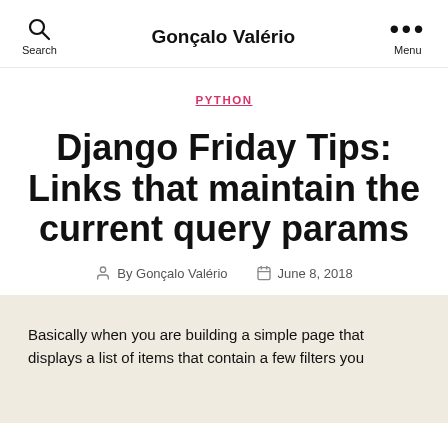Gonçalo Valério
PYTHON
Django Friday Tips: Links that maintain the current query params
By Gonçalo Valério  June 8, 2018
Basically when you are building a simple page that displays a list of items that contain a few filters you